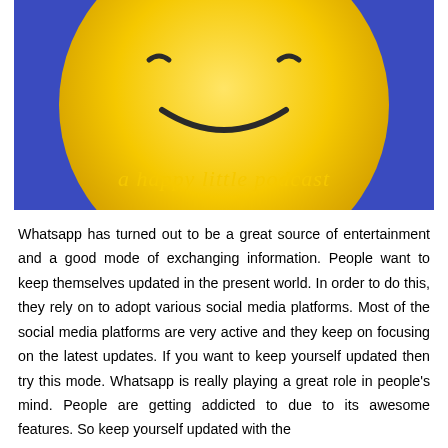[Figure (illustration): Podcast cover art showing a large yellow smiley face emoji on a blue/purple background with the text 'a happy little podcast' in yellow curved font at the bottom]
Whatsapp has turned out to be a great source of entertainment and a good mode of exchanging information. People want to keep themselves updated in the present world. In order to do this, they rely on to adopt various social media platforms. Most of the social media platforms are very active and they keep on focusing on the latest updates. If you want to keep yourself updated then try this mode. Whatsapp is really playing a great role in people's mind. People are getting addicted to due to its awesome features. So keep yourself updated with the